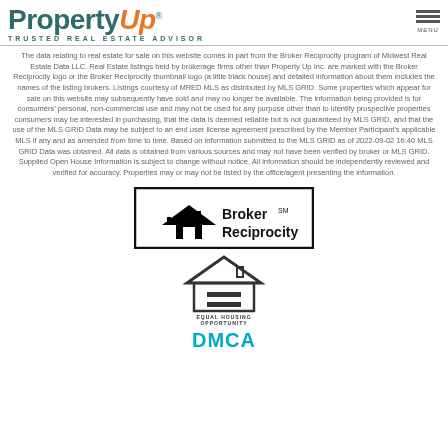[Figure (logo): PropertyUp logo with orange italic 'Up', teal 'Property' text, registered trademark symbol, and tagline 'TRUSTED REAL ESTATE ADVISOR']
The data relating to real estate for sale on this website comes in part from the Broker Reciprocity program of Midwest Real Estate Data LLC. Real Estate listings held by brokerage firms other than Property Up Inc. are marked with the Broker Reciprocity logo or the Broker Reciprocity thumbnail logo (a little black house) and detailed information about them includes the names of the listing brokers. Listings courtesy of MRED MLS as distributed by MLS GRID. Some properties which appear for sale on this website may subsequently have sold and may no longer be available. The information being provided is for consumers' personal, non-commercial use and may not be used for any purpose other than to identify prospective properties consumers may be interested in purchasing, that the data is deemed reliable but is not guaranteed by MLS GRID, and that the use of the MLS GRID Data may be subject to an end user license agreement prescribed by the Member Participant's applicable MLS if any and as amended from time to time. Based on information submitted to the MLS GRID as of 2022-09-02 16:40 MLS GRID Data was obtained. All data is obtained from various sources and may not have been verified by broker or MLS GRID. Supplied Open House Information is subject to change without notice. All information should be independently reviewed and verified for accuracy. Properties may or may not be listed by the office/agent presenting the information.
[Figure (logo): Broker Reciprocity logo: black border box with house icon and bold text 'Broker Reciprocity' with SM superscript]
[Figure (logo): Equal Housing Opportunity logo: house with equals sign and text 'EQUAL HOUSING OPPORTUNITY']
DMCA